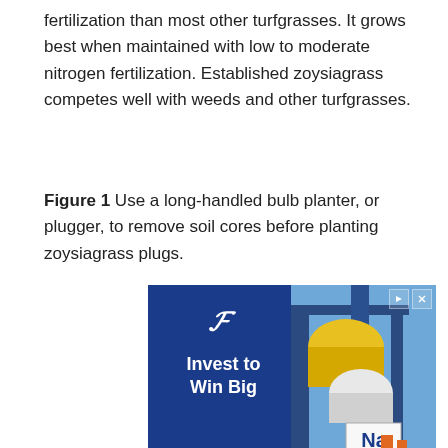fertilization than most other turfgrasses. It grows best when maintained with low to moderate nitrogen fertilization. Established zoysiagrass competes well with weeds and other turfgrasses.
Figure 1 Use a long-handled bulb planter, or plugger, to remove soil cores before planting zoysiagrass plugs.
[Figure (photo): Advertisement banner: dark blue background on left with a stylized 'F' logo and text 'Invest to Win Big'. Right side shows an industrial chemical plant photograph. Below is a secondary ad bar showing '44175 Ashbrook Marketpla...' with Lidl logo and navigation arrow icon. Additional play and close control icons are shown at bottom left.]